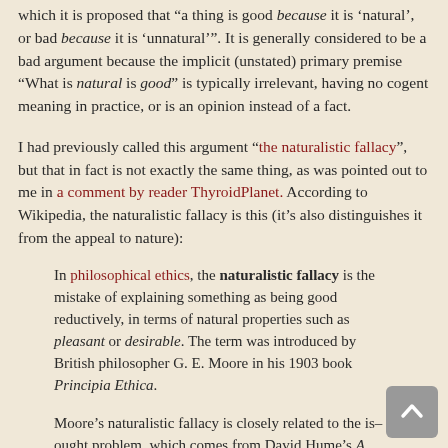which it is proposed that “a thing is good because it is ‘natural’, or bad because it is ‘unnatural’”. It is generally considered to be a bad argument because the implicit (unstated) primary premise “What is natural is good” is typically irrelevant, having no cogent meaning in practice, or is an opinion instead of a fact.
I had previously called this argument “the naturalistic fallacy”, but that in fact is not exactly the same thing, as was pointed out to me in a comment by reader ThyroidPlanet. According to Wikipedia, the naturalistic fallacy is this (it’s also distinguishes it from the appeal to nature):
In philosophical ethics, the naturalistic fallacy is the mistake of explaining something as being good reductively, in terms of natural properties such as pleasant or desirable. The term was introduced by British philosopher G. E. Moore in his 1903 book Principia Ethica.
Moore’s naturalistic fallacy is closely related to the is–ought problem, which comes from David Hume’s A Treatise of